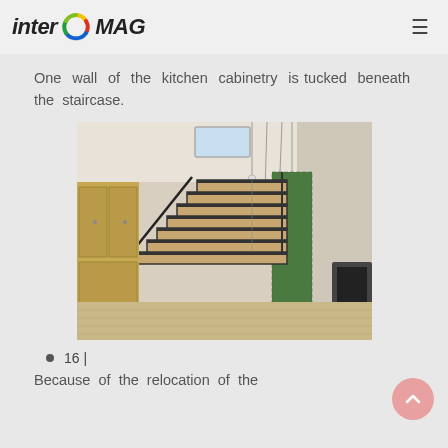inter MAG
One wall of the kitchen cabinetry is tucked beneath the staircase.
[Figure (photo): Interior photo showing a modern staircase with wooden steps and dark metal railings, pendant lights hanging from ceiling, a green living wall visible in the background, and kitchen cabinetry beneath the staircase.]
16 |
Because of the relocation of the staircase, the kitchen is now...